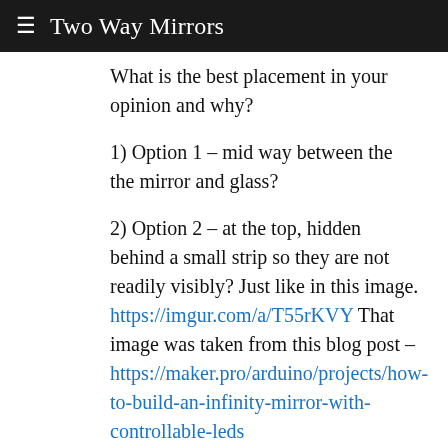Two Way Mirrors
What is the best placement in your opinion and why?
1) Option 1 – mid way between the the mirror and glass?
2) Option 2 – at the top, hidden behind a small strip so they are not readily visibly? Just like in this image. https://imgur.com/a/T55rKVY That image was taken from this blog post – https://maker.pro/arduino/projects/how-to-build-an-infinity-mirror-with-controllable-leds